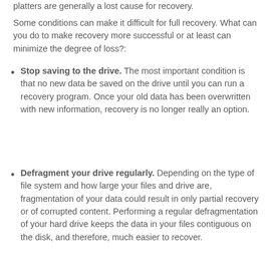platters are generally a lost cause for recovery.
Some conditions can make it difficult for full recovery. What can you do to make recovery more successful or at least can minimize the degree of loss?:
Stop saving to the drive. The most important condition is that no new data be saved on the drive until you can run a recovery program. Once your old data has been overwritten with new information, recovery is no longer really an option.
Defragment your drive regularly. Depending on the type of file system and how large your files and drive are, fragmentation of your data could result in only partial recovery or of corrupted content. Performing a regular defragmentation of your hard drive keeps the data in your files contiguous on the disk, and therefore, much easier to recover.